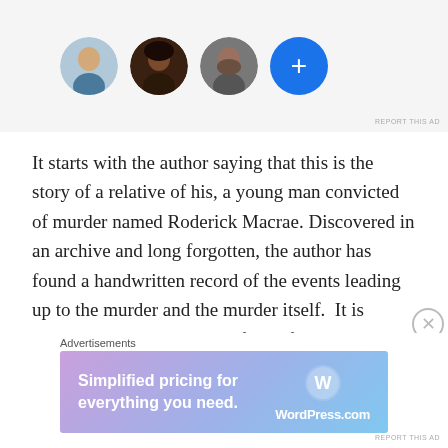[Figure (other): Four circular avatar images in a row: three profile photos of people and one blue circle with a white plus sign]
REPORT THIS AD
It starts with the author saying that this is the story of a relative of his, a young man convicted of murder named Roderick Macrae. Discovered in an archive and long forgotten, the author has found a handwritten record of the events leading up to the murder and the murder itself.  It is written by Roderick himself and, for a young crofter with limited education, shows an articulate and intelligent young man very aware of what has happened.
Advertisements
[Figure (other): WordPress.com advertisement banner with gradient background (purple to blue). Text reads 'Simplified pricing for everything you need.' with WordPress.com logo on the right.]
REPORT THIS AD